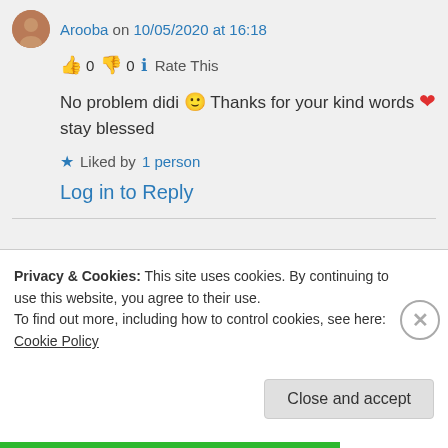Arooba on 10/05/2020 at 16:18
👍 0 👎 0 ℹ Rate This
No problem didi 🙂 Thanks for your kind words ❤
stay blessed
★ Liked by 1 person
Log in to Reply
Privacy & Cookies: This site uses cookies. By continuing to use this website, you agree to their use.
To find out more, including how to control cookies, see here: Cookie Policy
Close and accept